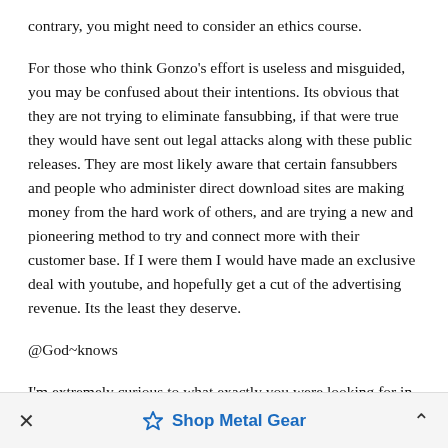contrary, you might need to consider an ethics course.
For those who think Gonzo's effort is useless and misguided, you may be confused about their intentions. Its obvious that they are not trying to eliminate fansubbing, if that were true they would have sent out legal attacks along with these public releases. They are most likely aware that certain fansubbers and people who administer direct download sites are making money from the hard work of others, and are trying a new and pioneering method to try and connect more with their customer base. If I were them I would have made an exclusive deal with youtube, and hopefully get a cut of the advertising revenue. Its the least they deserve.
@God~knows
I'm extremely curious to what exactly you were looking for in this post. Are you the type of person who, in seeing something against their own opinion, considers it somehow lacking?
Shop Metal Gear